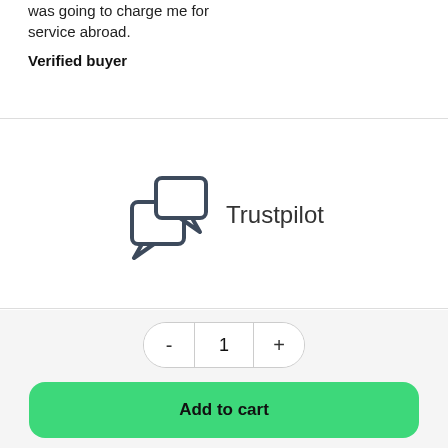was going to charge me for service abroad.
Verified buyer
[Figure (logo): Trustpilot logo with two speech bubble icons and the text 'Trustpilot']
- 1 +
Add to cart